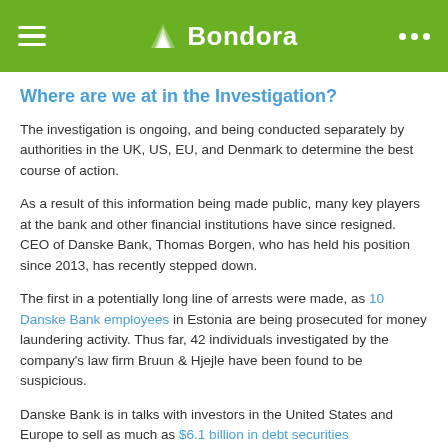Bondora
Where are we at in the Investigation?
The investigation is ongoing, and being conducted separately by authorities in the UK, US, EU, and Denmark to determine the best course of action.
As a result of this information being made public, many key players at the bank and other financial institutions have since resigned. CEO of Danske Bank, Thomas Borgen, who has held his position since 2013, has recently stepped down.
The first in a potentially long line of arrests were made, as 10 Danske Bank employees in Estonia are being prosecuted for money laundering activity. Thus far, 42 individuals investigated by the company's law firm Bruun & Hjejle have been found to be suspicious.
Danske Bank is in talks with investors in the United States and Europe to sell as much as $6.1 billion in debt securities